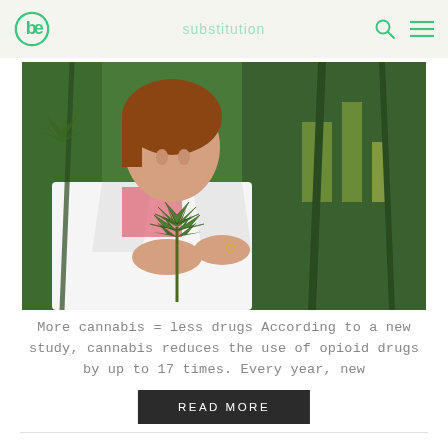substitution
[Figure (photo): Female scientist in white lab coat examining cannabis plant in an outdoor cannabis field.]
More cannabis = less drugs According to a new study, cannabis reduces the use of opioid drugs by up to 17 times. Every year, new
READ MORE